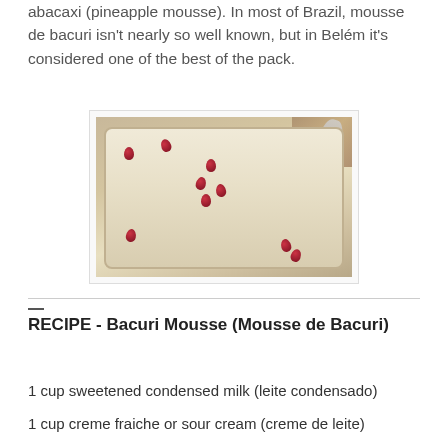abacaxi (pineapple mousse). In most of Brazil, mousse de bacuri isn't nearly so well known, but in Belém it's considered one of the best of the pack.
[Figure (photo): A glass baking dish filled with light-colored bacuri mousse, garnished with small dark red berries arranged in a pattern. A metal spoon is visible in the background, and the dish sits on a woven mat.]
RECIPE - Bacuri Mousse (Mousse de Bacuri)
1 cup sweetened condensed milk (leite condensado)
1 cup creme fraiche or sour cream (creme de leite)